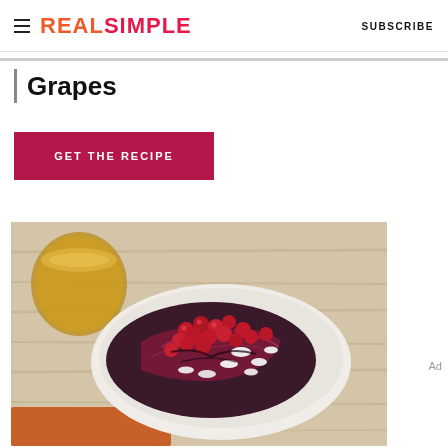REAL SIMPLE  SUBSCRIBE
Grapes
GET THE RECIPE
[Figure (photo): Overhead shot of a white bowl containing grilled radicchio salad topped with red grapes and crumbled white cheese, with a glass of amber liquid visible at top left, placed on a light wood surface with an orange cloth.]
Ad